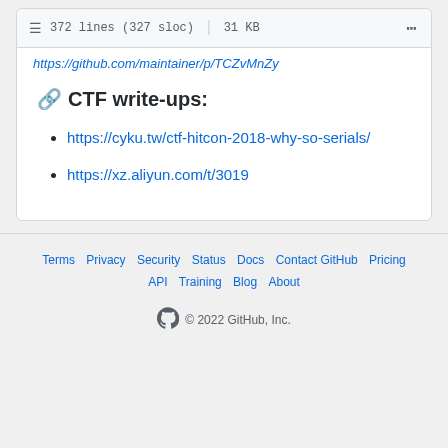372 lines (327 sloc) | 31 KB
https://github.com/maintainer/p/TCZvMnZy
🔗 CTF write-ups:
https://cyku.tw/ctf-hitcon-2018-why-so-serials/
https://xz.aliyun.com/t/3019
Terms | Privacy | Security | Status | Docs | Contact GitHub | Pricing | API | Training | Blog | About
© 2022 GitHub, Inc.